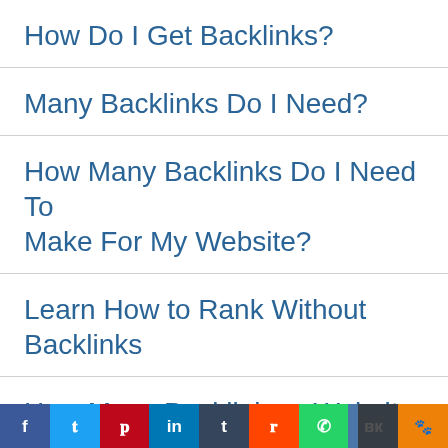How Do I Get Backlinks?
Many Backlinks Do I Need?
How Many Backlinks Do I Need To Make For My Website?
Learn How to Rank Without Backlinks
How Many Backlinks a Website Has
How Many Backlinks Do I Need to